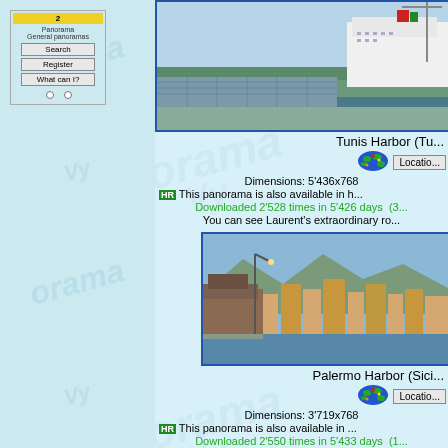[Figure (screenshot): Left navigation panel with light blue background, nav buttons for Search, Register, What can I, and radio buttons]
[Figure (photo): Panoramic photo of Tunis Harbor with cruise ship docked, aerial view]
Tunis Harbor (Tu...
[Figure (infographic): Colorful globe/world map icon]
Location...
Dimensions: 5'436x768
HR This panorama is also available in h...
Downloaded 2'528 times in 5'426 days  (3...
You can see Laurent's extraordinary ro...
[Figure (photo): Panoramic photo of Palermo Harbor Sicily, with cruise ship and city buildings]
Palermo Harbor (Sici...
[Figure (infographic): Colorful globe/world map icon]
Location...
Dimensions: 3'719x768
HR This panorama is also available in ...
Downloaded 2'550 times in 5'433 days  (1...
You can see Laurent's extraordinary ro...